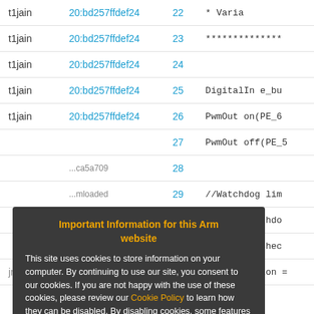| User | Hash | Line | Code |
| --- | --- | --- | --- |
| t1jain | 20:bd257ffdef24 | 22 | * Varia |
| t1jain | 20:bd257ffdef24 | 23 | ************** |
| t1jain | 20:bd257ffdef24 | 24 |  |
| t1jain | 20:bd257ffdef24 | 25 | DigitalIn e_bu |
| t1jain | 20:bd257ffdef24 | 26 | PwmOut on(PE_6 |
|  |  | 27 | PwmOut off(PE_5 |
|  | ...ca5a709 | 28 |  |
|  | ...mloaded | 29 | //Watchdog lim |
|  | ...mloaded | 30 | double watchdo |
|  | 11:73b4380d82ff | 31 | int buttonChec |
| jmausto | 11:73b4380d82ff | 32 | int iteration = |
Important Information for this Arm website

This site uses cookies to store information on your computer. By continuing to use our site, you consent to our cookies. If you are not happy with the use of these cookies, please review our Cookie Policy to learn how they can be disabled. By disabling cookies, some features of the site will not work.

Accept and hide this message